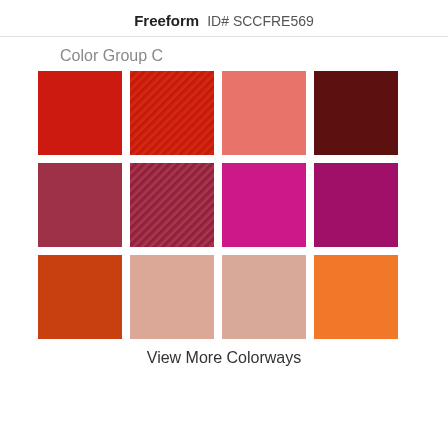Freeform  ID# SCCFRE569
Color Group C
[Figure (other): A 4x3 grid of color swatches showing various red, pink, magenta, orange, and blush fabric colors for the Freeform product, Color Group C.]
View More Colorways